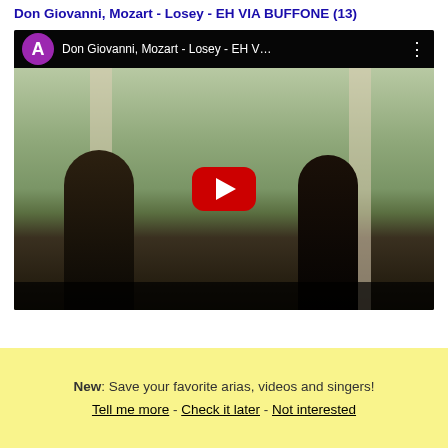Don Giovanni, Mozart - Losey - EH VIA BUFFONE (13)
[Figure (screenshot): YouTube video embed showing Don Giovanni, Mozart - Losey - EH VIA BUFFONE. Top bar shows purple avatar circle with letter A and video title 'Don Giovanni, Mozart - Losey - EH V...' A scene with two figures (silhouettes) facing each other in a columned outdoor setting. Large red YouTube play button centered over the video.]
New: Save your favorite arias, videos and singers! Tell me more - Check it later - Not interested